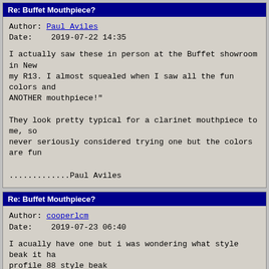Re: Buffet Mouthpiece?
Author: Paul Aviles
Date:   2019-07-22 14:35

I actually saw these in person at the Buffet showroom in New my R13. I almost squealed when I saw all the fun colors and ANOTHER mouthpiece!"

They look pretty typical for a clarinet mouthpiece to me, so never seriously considered trying one but the colors are fun

.............Paul Aviles
Re: Buffet Mouthpiece?
Author: cooperlcm
Date:   2019-07-23 06:40

I acually have one but i was wondering what style beak it ha profile 88 style beak